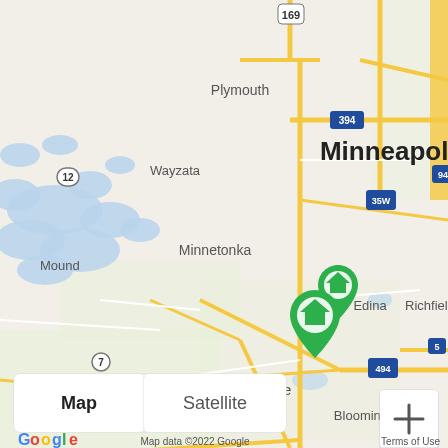[Figure (map): Google Maps screenshot showing the Minneapolis/Eden Prairie, Minnesota area with two green home marker pins near Eden Prairie/Minnetonka area. Map shows surrounding cities including Plymouth, Wayzata, Mound, Victoria, Minnetonka, Minneapolis, Edina, Richfield, Bloomington, Shakopee, Chaska, Carver, Savage, Burnsville, Apple Valley, Prior Lake, Credit River Township. Roads and highways visible including 169, 394, 35W, 94, 494, 212, 7, 12, 13, 35, 5. Blue water bodies visible throughout. Yellow major roads on light beige/green map background. Zoom controls (+/-) and Street View pegman icon visible in bottom right. Map/Satellite toggle and Google logo visible at bottom left. Map data copyright 2022 Google shown at bottom.]